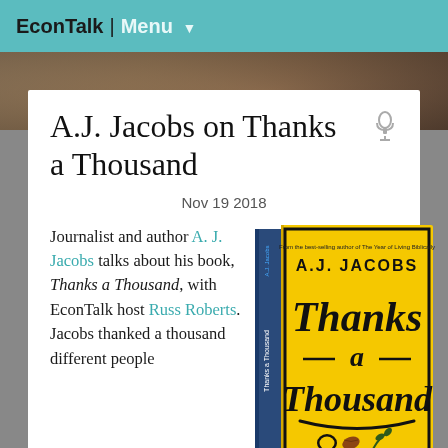EconTalk | Menu
A.J. Jacobs on Thanks a Thousand
Nov 19 2018
Journalist and author A. J. Jacobs talks about his book, Thanks a Thousand, with EconTalk host Russ Roberts. Jacobs thanked a thousand different people
[Figure (photo): Book cover of 'Thanks a Thousand' by A.J. Jacobs — yellow cover with bold black handwritten-style title text and subtitle 'A Gratitude Journey']